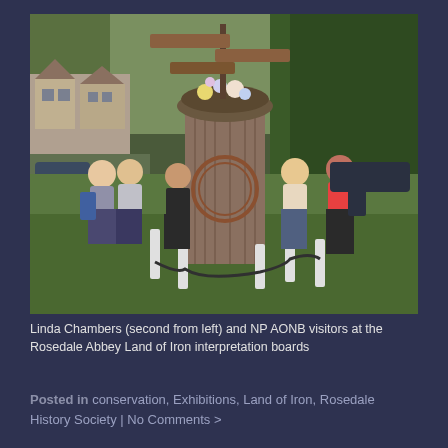[Figure (photo): Outdoor photo showing Linda Chambers (second from left) and NP AONB visitors standing around a large wooden structure with a circular metal emblem, flower planter on top, and wooden signpost above. White bollards and chain surround the structure on a grass area. Stone buildings and trees visible in background.]
Linda Chambers (second from left) and NP AONB visitors at the Rosedale Abbey Land of Iron interpretation boards
Posted in conservation, Exhibitions, Land of Iron, Rosedale History Society | No Comments >